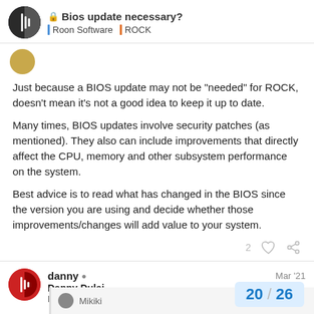Bios update necessary? | Roon Software | ROCK
Just because a BIOS update may not be “needed” for ROCK, doesn’t mean it’s not a good idea to keep it up to date.
Many times, BIOS updates involve security patches (as mentioned). They also can include improvements that directly affect the CPU, memory and other subsystem performance on the system.
Best advice is to read what has changed in the BIOS since the version you are using and decide whether those improvements/changes will add value to your system.
2
danny ● Danny Dulai Roon Labs: COO Mar ’21